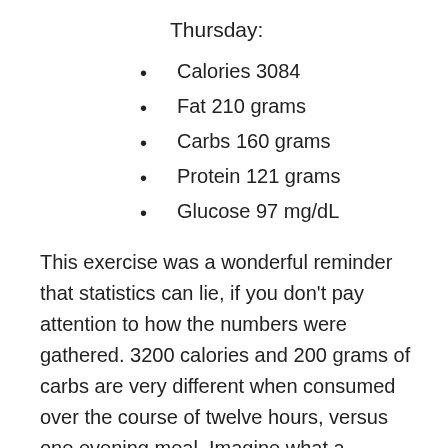Thursday:
Calories 3084
Fat 210 grams
Carbs 160 grams
Protein 121 grams
Glucose 97 mg/dL
This exercise was a wonderful reminder that statistics can lie, if you don’t pay attention to how the numbers were gathered. 3200 calories and 200 grams of carbs are very different when consumed over the course of twelve hours, versus one evening meal. Imagine what a